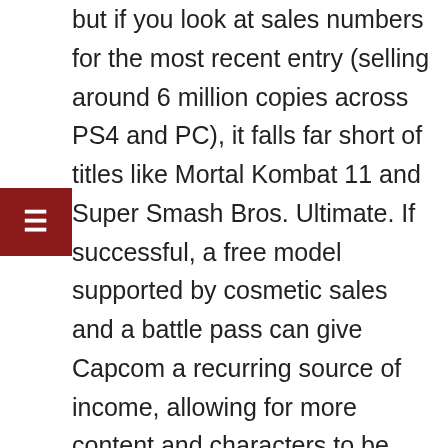but if you look at sales numbers for the most recent entry (selling around 6 million copies across PS4 and PC), it falls far short of titles like Mortal Kombat 11 and Super Smash Bros. Ultimate. If successful, a free model supported by cosmetic sales and a battle pass can give Capcom a recurring source of income, allowing for more content and characters to be created, and we all know that's what will really drive the company to support the game in the long term.
On the other hand, shipping a complete game with an arcade mode on day one, a compelling story mode, training, and functional online with reliable (preferably rollback) netcode would also go a long way to topping SFV's sales. Games like MK11